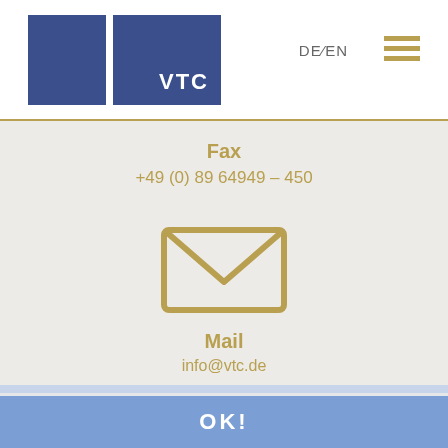[Figure (logo): VTC company logo with two blue squares and VTC text in white]
DE/EN
[Figure (illustration): Hamburger menu icon with three horizontal gold lines]
Fax
+49 (0) 89 64949 – 450
[Figure (illustration): Gold envelope/mail icon]
Mail
info@vtc.de
This website uses cookies. By using our services you agree that we use cookies.
More Information
[Figure (map): Google Maps embedded map showing street layout with Map/Satellite toggle controls]
OK!